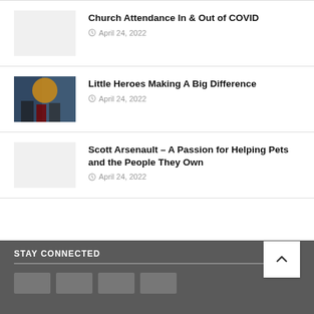Church Attendance In & Out of COVID
April 24, 2022
Little Heroes Making A Big Difference
April 24, 2022
Scott Arsenault – A Passion for Helping Pets and the People They Own
April 24, 2022
STAY CONNECTED
STAY CONNECTED